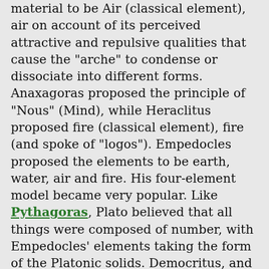material to be Air (classical element), air on account of its perceived attractive and repulsive qualities that cause the "arche" to condense or dissociate into different forms. Anaxagoras proposed the principle of "Nous" (Mind), while Heraclitus proposed fire (classical element), fire (and spoke of "logos"). Empedocles proposed the elements to be earth, water, air and fire. His four-element model became very popular. Like Pythagoras, Plato believed that all things were composed of number, with Empedocles' elements taking the form of the Platonic solids. Democritus, and later philosophers—most notably Leucippus—proposed that the universe is composed of indivisible atoms moving through a void (astronomy), void (vacuum), although Aristotle did not believe that to be feasible because air, like water, offers Drag (physics), resistance to motion. Air will immediately rush in to fill a void, and moreover, without resistance, it would do so indefinitely fast. Although Heraclitus argued for eternal change, his contemporary Parmenides made the radical suggestion that all change is an illusion, that the true underlying reality is eternally unchanging and of a single nature. Parmenides denoted this reality as (The One). Parmenides' idea seemed implausible to many Greeks, but his student Zeno of Elea challenged them with a proof from Zeno's paradoxes that Aristotle...